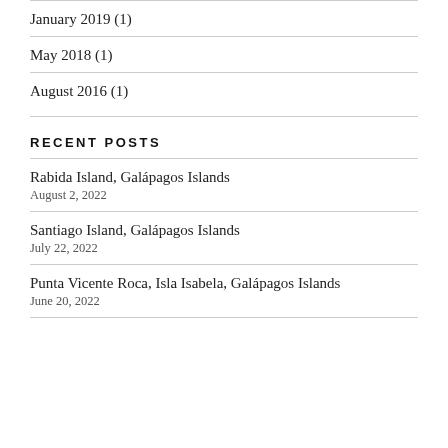January 2019 (1)
May 2018 (1)
August 2016 (1)
RECENT POSTS
Rabida Island, Galápagos Islands
August 2, 2022
Santiago Island, Galápagos Islands
July 22, 2022
Punta Vicente Roca, Isla Isabela, Galápagos Islands
June 20, 2022